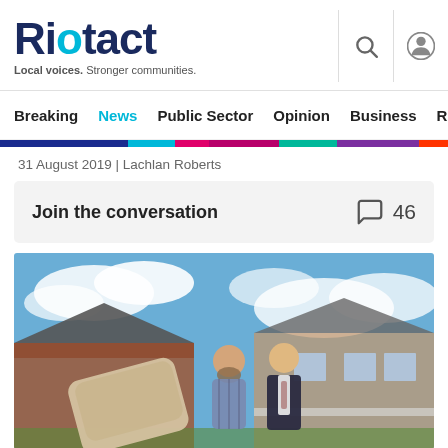Riotact — Local voices. Stronger communities.
Breaking  News  Public Sector  Opinion  Business  R
31 August 2019 | Lachlan Roberts
Join the conversation  46
[Figure (photo): Two men standing in front of a brick house with a blue sky background. One man has a beard and wears a plaid shirt; the other wears a dark suit. A large beige couch or furniture item is visible in the foreground.]